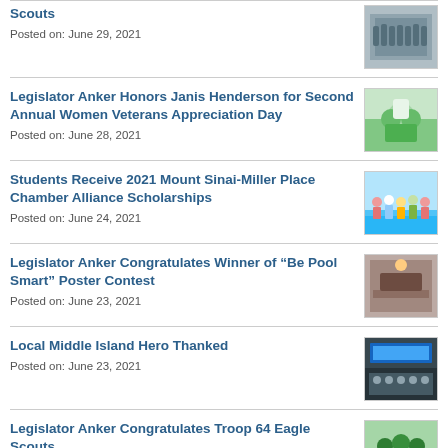Scouts / Posted on: June 29, 2021
Legislator Anker Honors Janis Henderson for Second Annual Women Veterans Appreciation Day / Posted on: June 28, 2021
Students Receive 2021 Mount Sinai-Miller Place Chamber Alliance Scholarships / Posted on: June 24, 2021
Legislator Anker Congratulates Winner of “Be Pool Smart” Poster Contest / Posted on: June 23, 2021
Local Middle Island Hero Thanked / Posted on: June 23, 2021
Legislator Anker Congratulates Troop 64 Eagle Scouts